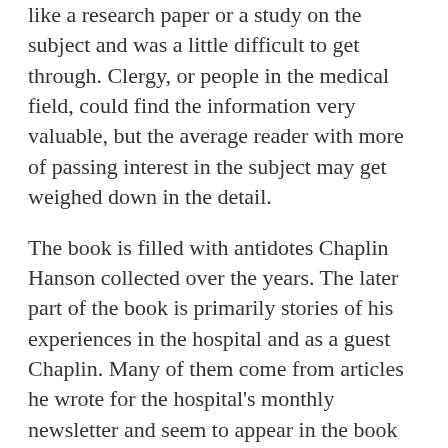like a research paper or a study on the subject and was a little difficult to get through. Clergy, or people in the medical field, could find the information very valuable, but the average reader with more of passing interest in the subject may get weighed down in the detail.
The book is filled with antidotes Chaplin Hanson collected over the years. The later part of the book is primarily stories of his experiences in the hospital and as a guest Chaplin. Many of them come from articles he wrote for the hospital's monthly newsletter and seem to appear in the book just as they did in the newsletter. While I appreciate the fact that he's sharing words of wisdom from field, it was a little distracting to read references to times or locations that could